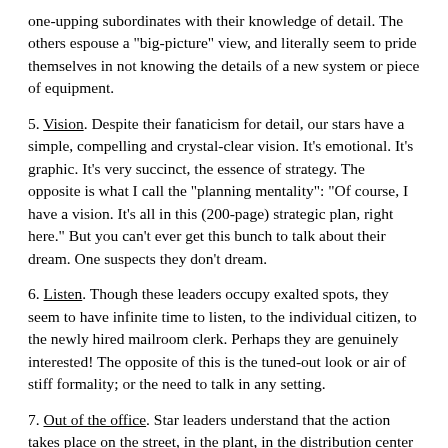one-upping subordinates with their knowledge of detail. The others espouse a "big-picture" view, and literally seem to pride themselves in not knowing the details of a new system or piece of equipment.
5. Vision. Despite their fanaticism for detail, our stars have a simple, compelling and crystal-clear vision. It's emotional. It's graphic. It's very succinct, the essence of strategy. The opposite is what I call the "planning mentality": "Of course, I have a vision. It's all in this (200-page) strategic plan, right here." But you can't ever get this bunch to talk about their dream. One suspects they don't dream.
6. Listen. Though these leaders occupy exalted spots, they seem to have infinite time to listen, to the individual citizen, to the newly hired mailroom clerk. Perhaps they are genuinely interested! The opposite of this is the tuned-out look or air of stiff formality; or the need to talk in any setting.
7. Out of the office. Star leaders understand that the action takes place on the street, in the plant, in the distribution center at 2:00